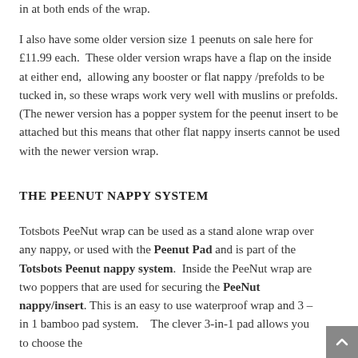in at both ends of the wrap.
I also have some older version size 1 peenuts on sale here for £11.99 each.  These older version wraps have a flap on the inside at either end,  allowing any booster or flat nappy /prefolds to be tucked in, so these wraps work very well with muslins or prefolds.  (The newer version has a popper system for the peenut insert to be attached but this means that other flat nappy inserts cannot be used with the newer version wrap.
THE PEENUT NAPPY SYSTEM
Totsbots PeeNut wrap can be used as a stand alone wrap over any nappy, or used with the Peenut Pad and is part of the Totsbots Peenut nappy system.  Inside the PeeNut wrap are two poppers that are used for securing the PeeNut nappy/insert. This is an easy to use waterproof wrap and 3 – in 1 bamboo pad system.    The clever 3-in-1 pad allows you to choose the absorbency level of the wrap...